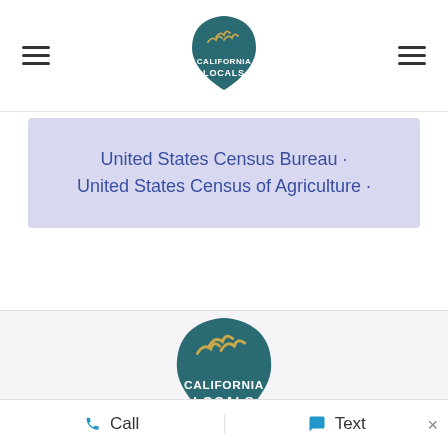[Figure (logo): California Locals logo badge — teal shield shape with stylized birds and text CALIFORNIA LOCALS]
United States Census Bureau · United States Census of Agriculture ·
[Figure (logo): California Locals logo badge (larger) — teal shield shape with golden birds and text CALIFORNIA LOCALS]
Call   Text   ×